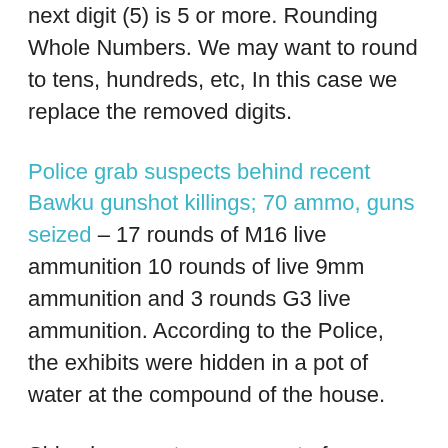next digit (5) is 5 or more. Rounding Whole Numbers. We may want to round to tens, hundreds, etc, In this case we replace the removed digits.
Police grab suspects behind recent Bawku gunshot killings; 70 ammo, guns seized – 17 rounds of M16 live ammunition 10 rounds of live 9mm ammunition and 3 rounds G3 live ammunition. According to the Police, the exhibits were hidden in a pot of water at the compound of the house.
Side-via-aspect assessment of many not unusual pistol rounds. L-R: (1) 3 in 12 ga magnum shotgun shell (for contrast), (2) length "AA" battery (for comparison),